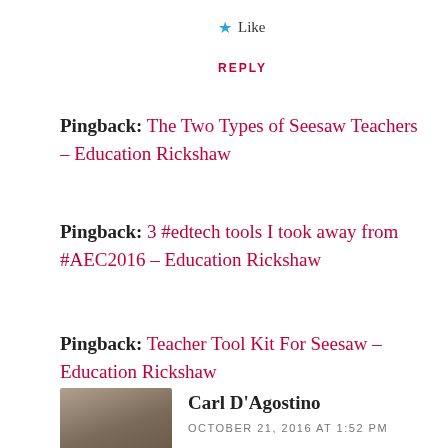★ Like
REPLY
Pingback: The Two Types of Seesaw Teachers – Education Rickshaw
Pingback: 3 #edtech tools I took away from #AEC2016 – Education Rickshaw
Pingback: Teacher Tool Kit For Seesaw – Education Rickshaw
Carl D'Agostino
OCTOBER 21, 2016 AT 1:52 PM